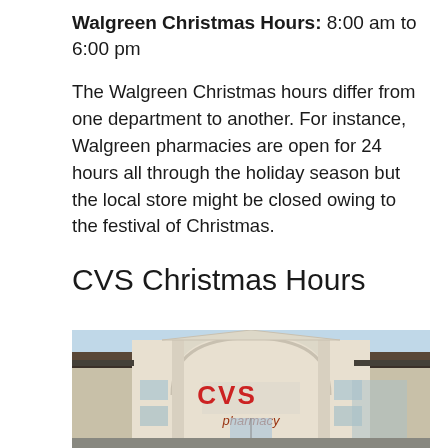Walgreen Christmas Hours: 8:00 am to 6:00 pm
The Walgreen Christmas hours differ from one department to another. For instance, Walgreen pharmacies are open for 24 hours all through the holiday season but the local store might be closed owing to the festival of Christmas.
CVS Christmas Hours
[Figure (photo): Exterior photo of a CVS pharmacy store building with a white arched facade and red CVS pharmacy sign]